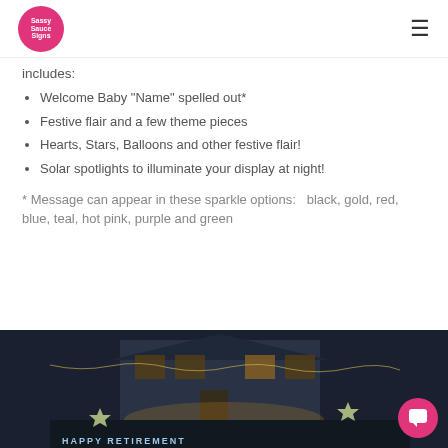Sassy Sauce Signs logo and navigation
includes:
Welcome Baby "Name" spelled out*
Festive flair and a few theme pieces
Hearts, Stars, Balloons and other festive flair!
Solar spotlights to illuminate your display at night!
* Message can appear in these sparkle options:   black, gold, red, blue, teal, hot pink, purple and green
[Figure (photo): Nighttime photo of a house with a sparkle sign reading 'HAPPY RETIREMENT' on the lawn, illuminated with lights and star decorations]